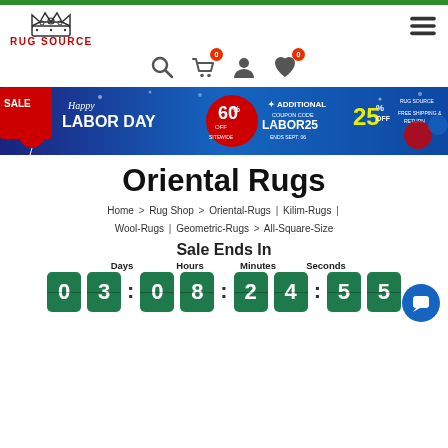[Figure (logo): Rug Source logo with crown graphic and red text RUG SOURCE]
[Figure (screenshot): Hamburger menu icon (three horizontal lines)]
[Figure (screenshot): Navigation icons: search, shopping cart with 0 badge, user account, wishlist heart with 0 badge]
[Figure (photo): Labor Day sale banner: Happy Labor Day, 60% off sitewide, additional coupon code LABOR25 25% off, ends Sept 06, free shipping and return]
Oriental Rugs
Home > Rug Shop > Oriental-Rugs | Kilim-Rugs | Wool-Rugs | Geometric-Rugs > All-Square-Size
Sale Ends In
Days  Hours  Minutes  Seconds  03 : 08 : 24 : 55